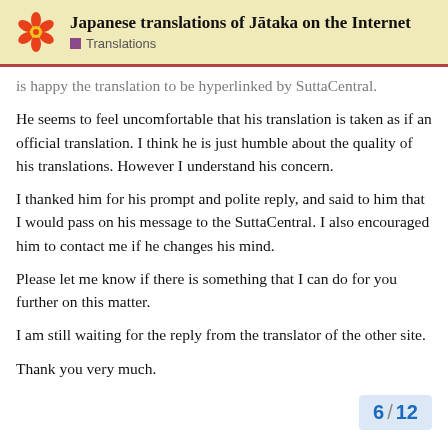Japanese translations of Jātaka on the Internet — Translations
is happy the translation to be hyperlinked by SuttaCentral.
He seems to feel uncomfortable that his translation is taken as if an official translation. I think he is just humble about the quality of his translations. However I understand his concern.
I thanked him for his prompt and polite reply, and said to him that I would pass on his message to the SuttaCentral. I also encouraged him to contact me if he changes his mind.
Please let me know if there is something that I can do for you further on this matter.
I am still waiting for the reply from the translator of the other site.
Thank you very much.
6 / 12